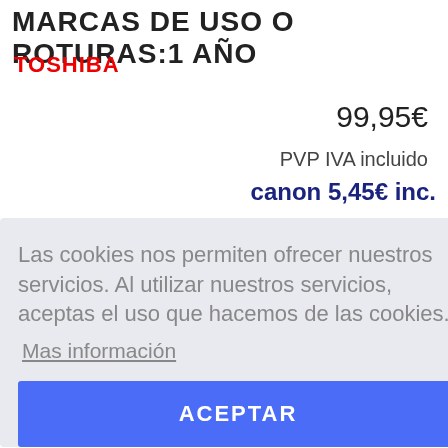MARCAS DE USO O ROTURAS:1 AÑO
TOSHIBA
99,95€
PVP IVA incluido
canon 5,45€ inc.
Las cookies nos permiten ofrecer nuestros servicios. Al utilizar nuestros servicios, aceptas el uso que hacemos de las cookies.
Mas información
ACEPTAR
s.
e agosto.
le agosto
los enviaremos a partir del 1 de Septiembre
Filtrar por Marcas